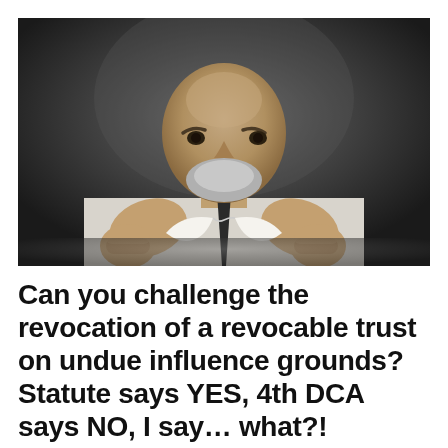[Figure (photo): A bald, stern-looking older man with a white beard wearing a white dress shirt and dark tie, aggressively tearing a document with both hands. Dark studio background.]
Can you challenge the revocation of a revocable trust on undue influence grounds? Statute says YES, 4th DCA says NO, I say… what?!